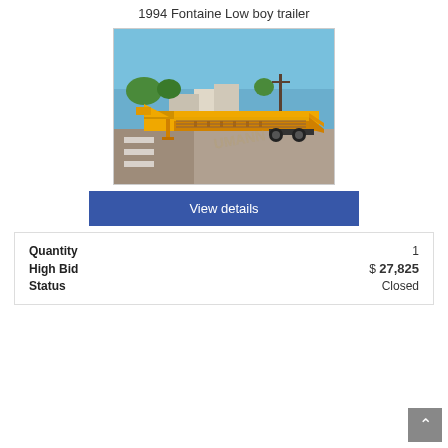1994 Fontaine Low boy trailer
[Figure (photo): Yellow 1994 Fontaine low boy trailer photographed outdoors on gravel, with UMANN watermark visible. Trailer is bright yellow with a low flat deck, dual rear axles, and ramps at the rear. Blue sky and rural buildings in background.]
View details
| Quantity | 1 |
| High Bid | $ 27,825 |
| Status | Closed |